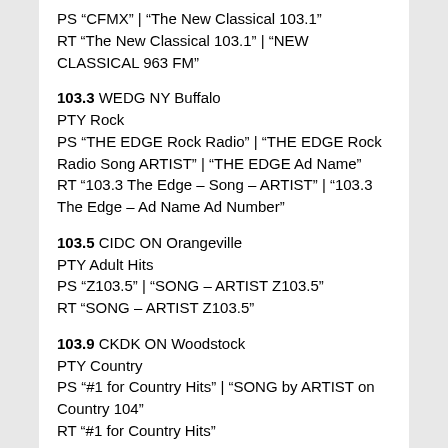PS “CFMX” | “The New Classical 103.1”
RT “The New Classical 103.1” | “NEW CLASSICAL 963 FM”
103.3 WEDG NY Buffalo
PTY Rock
PS “THE EDGE Rock Radio” | “THE EDGE Rock Radio Song ARTIST” | “THE EDGE Ad Name”
RT “103.3 The Edge – Song – ARTIST” | “103.3 The Edge – Ad Name Ad Number”
103.5 CIDC ON Orangeville
PTY Adult Hits
PS “Z103.5” | “SONG – ARTIST Z103.5”
RT “SONG – ARTIST Z103.5”
103.9 CKDK ON Woodstock
PTY Country
PS “#1 for Country Hits” | “SONG by ARTIST on Country 104”
RT “#1 for Country Hits”